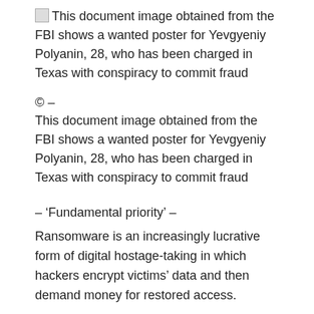[Figure (photo): Broken image placeholder followed by caption text: This document image obtained from the FBI shows a wanted poster for Yevgyeniy Polyanin, 28, who has been charged in Texas with conspiracy to commit fraud]
© –
This document image obtained from the FBI shows a wanted poster for Yevgyeniy Polyanin, 28, who has been charged in Texas with conspiracy to commit fraud
– 'Fundamental priority' –
Ransomware is an increasingly lucrative form of digital hostage-taking in which hackers encrypt victims' data and then demand money for restored access.
According to the US indictments, Vasinskyi and Polyanin deployed the REvil / Sodinokibi ransomware to encrypt data on the